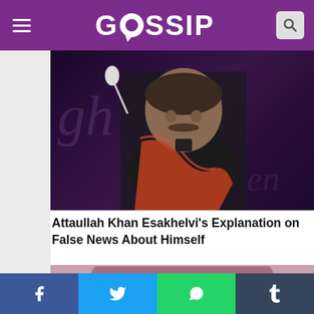GOSSIP
[Figure (photo): Man with mustache wearing black shalwar kameez and red/orange dupatta, standing near a microphone at an event with purple decorative background]
Attaullah Khan Esakhelvi's Explanation on False News About Himself
[Figure (photo): Close-up portrait of a young woman with curly dark hair and expressive eyes]
Social sharing bar: Facebook, Twitter, WhatsApp, Tumblr